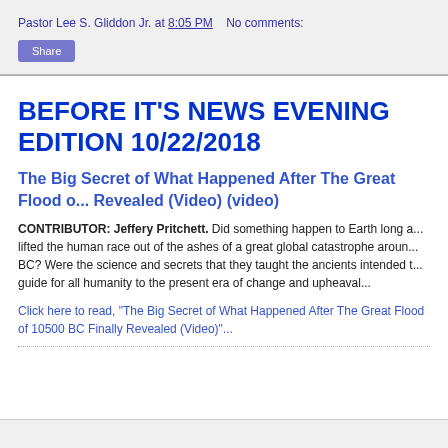Pastor Lee S. Gliddon Jr. at 8:05 PM   No comments:
Share
BEFORE IT'S NEWS EVENING EDITION 10/22/2018
The Big Secret of What Happened After The Great Flood o... Revealed (Video) (video)
CONTRIBUTOR: Jeffery Pritchett. Did something happen to Earth long a... lifted the human race out of the ashes of a great global catastrophe aroun... BC? Were the science and secrets that they taught the ancients intended t... guide for all humanity to the present era of change and upheaval...
Click here to read, "The Big Secret of What Happened After The Great Flood of 10500 BC Finally Revealed (Video)"...